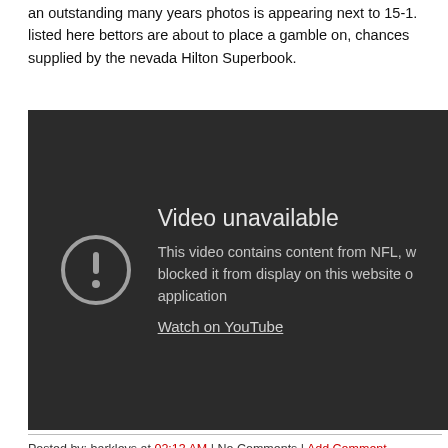an outstanding many years photos is appearing next to 15-1. listed here bettors are about to place a gamble on, chances supplied by the nevada Hilton Superbook.
[Figure (screenshot): YouTube video unavailable message on dark background. Shows a circle with exclamation mark icon and text: 'Video unavailable. This video contains content from NFL, w... blocked it from display on this website o... application. Watch on YouTube']
Posted by: barkleys at 02:13 AM | No Comments | Add Comment
Post contains 691 words, total size 5 kb.
December 21, 2020